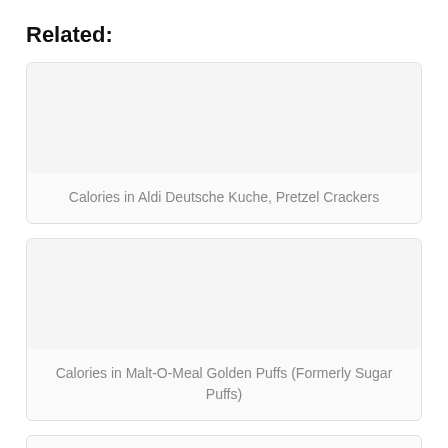Related:
Calories in Aldi Deutsche Kuche, Pretzel Crackers
Calories in Malt-O-Meal Golden Puffs (Formerly Sugar Puffs)